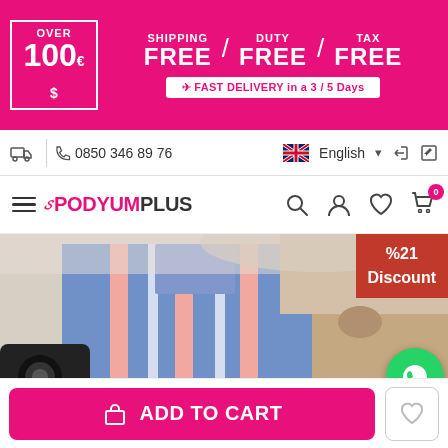[Figure (infographic): Promotional banner: OVER 100€$ / SHIPPING FREE / DUTY FREE / TAX FREE / FAST DELIVERY in a 3/5 Days]
0850 346 89 76  |  English
[Figure (logo): PodyumPlus logo with navigation icons: search, account, wishlist, cart (0)]
[Figure (photo): Product photo of a blue and pink striped shirt with beige pants, showing %21 Discount badge]
ADD TO CART